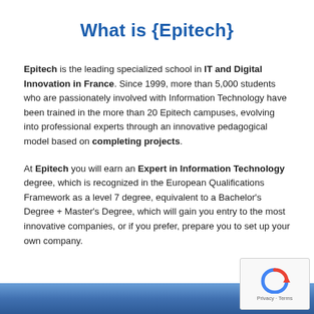What is {Epitech}
Epitech is the leading specialized school in IT and Digital Innovation in France. Since 1999, more than 5,000 students who are passionately involved with Information Technology have been trained in the more than 20 Epitech campuses, evolving into professional experts through an innovative pedagogical model based on completing projects.
At Epitech you will earn an Expert in Information Technology degree, which is recognized in the European Qualifications Framework as a level 7 degree, equivalent to a Bachelor's Degree + Master's Degree, which will gain you entry to the most innovative companies, or if you prefer, prepare you to set up your own company.